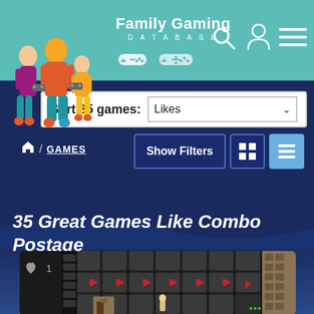[Figure (logo): Family Gaming Database logo with teal background, family illustration, brand name text, and controller icons]
[Figure (screenshot): Website UI showing sort controls: 'Sort 35 games: Likes' dropdown, breadcrumb navigation (home / GAMES), Show Filters button, grid/list view toggle buttons]
35 Great Games Like Combo Postage
[Figure (screenshot): Game thumbnail screenshot showing a dark dungeon/puzzle game with stone tiles and red arrow indicators, with a heart (like) icon showing count of 1]